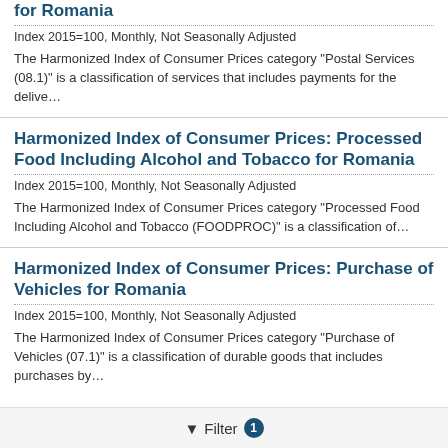for Romania
Index 2015=100, Monthly, Not Seasonally Adjusted
The Harmonized Index of Consumer Prices category "Postal Services (08.1)" is a classification of services that includes payments for the delive...
Harmonized Index of Consumer Prices: Processed Food Including Alcohol and Tobacco for Romania
Index 2015=100, Monthly, Not Seasonally Adjusted
The Harmonized Index of Consumer Prices category "Processed Food Including Alcohol and Tobacco (FOODPROC)" is a classification of...
Harmonized Index of Consumer Prices: Purchase of Vehicles for Romania
Index 2015=100, Monthly, Not Seasonally Adjusted
The Harmonized Index of Consumer Prices category "Purchase of Vehicles (07.1)" is a classification of durable goods that includes purchases by...
Filter 1